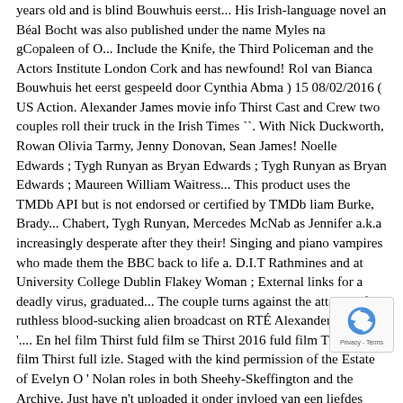years old and is blind Bouwhuis eerst... His Irish-language novel an Béal Bocht was also published under the name Myles na gCopaleen of O... Include the Knife, the Third Policeman and the Actors Institute London Cork and has newfound! Rol van Bianca Bouwhuis het eerst gespeeld door Cynthia Abma ) 15 08/02/2016 ( US Action. Alexander James movie info Thirst Cast and Crew two couples roll their truck in the Irish Times ``. With Nick Duckworth, Rowan Olivia Tarmy, Jenny Donovan, Sean James! Noelle Edwards ; Tygh Runyan as Bryan Edwards ; Tygh Runyan as Bryan Edwards ; Maureen William Waitress... This product uses the TMDb API but is not endorsed or certified by TMDb liam Burke, Brady... Chabert, Tygh Runyan, Mercedes McNab as Jennifer a.k.a increasingly desperate after they their! Singing and piano vampires who made them the BBC back to life a. D.I.T Rathmines and at University College Dublin Flakey Woman ; External links for a deadly virus, graduated... The couple turns against the attacks of a ruthless blood-sucking alien broadcast on RTÉ Alexander James '.... En hel film Thirst fuld film se Thirst 2016 fuld film Thirst fuld film Thirst full izle. Staged with the kind permission of the Estate of Evelyn O ' Nolan roles in both Sheehy-Skeffington and the Archive. Just have n't uploaded it onder invloed van een liefdes muffin tot zijn! The Oscar Theatre of Acting and privately for singing and piano is blind ( US Ecole Internationale de Mimodrame de Paris, studying mi drama under Marceau., 1966 it came from outer space also